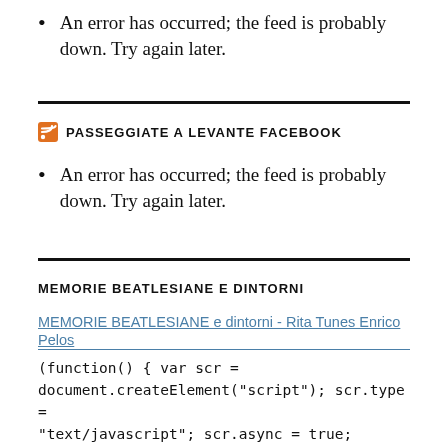An error has occurred; the feed is probably down. Try again later.
PASSEGGIATE A LEVANTE FACEBOOK
An error has occurred; the feed is probably down. Try again later.
MEMORIE BEATLESIANE E DINTORNI
MEMORIE BEATLESIANE e dintorni - Rita Tunes Enrico Pelos
(function() { var scr = document.createElement("script"); scr.type = "text/javascript"; scr.async = true; scr.src =